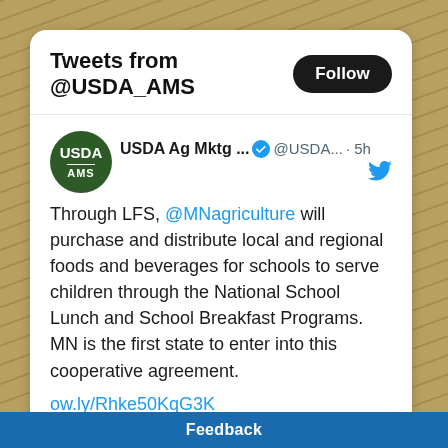Tweets from @USDA_AMS
USDA Ag Mktg ... @USDA... · 5h
Through LFS, @MNagriculture will purchase and distribute local and regional foods and beverages for schools to serve children through the National School Lunch and School Breakfast Programs. MN is the first state to enter into this cooperative agreement.

ow.ly/Rhke50KqG3K
[Figure (screenshot): Embedded image preview box, white/light gray rectangle with rounded corners]
Feedback